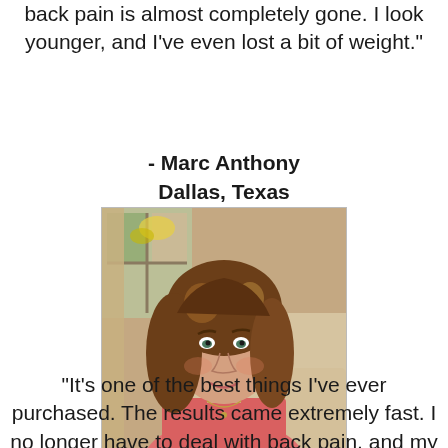back pain is almost completely gone. I look younger, and I've even lost a bit of weight."
- Marc Anthony
Dallas, Texas
[Figure (photo): Portrait photo of a middle-aged woman with shoulder-length brown hair wearing a pink top, seated indoors near a window. Watermark reads © NICK HOLT.]
"It's one of the best things I've ever purchased. The results came extremely fast. I no longer have to deal with back pain, and my husband